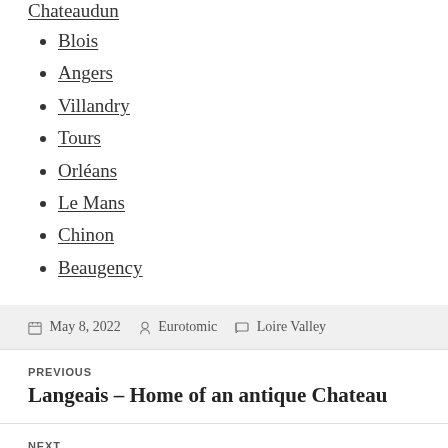Chateaudun
Blois
Angers
Villandry
Tours
Orléans
Le Mans
Chinon
Beaugency
May 8, 2022  Eurotomic  Loire Valley
PREVIOUS
Langeais – Home of an antique Chateau
NEXT
Saumur: An Attractive French Town with Plenty to Offer Tourists